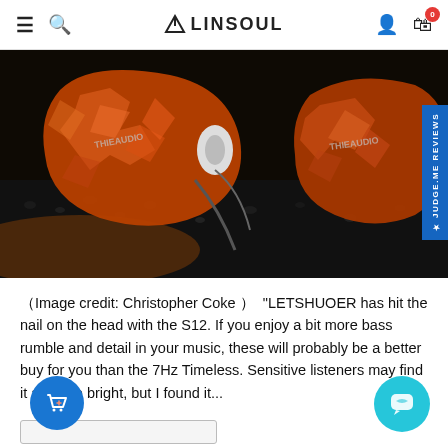≡  🔍  LINSOUL  👤  🛒 0
[Figure (photo): Close-up photo of two LETSHUOER S12 in-ear monitors with amber/orange crackle finish, resting on black granular material. The IEM shells show 'THIEAUDIO' or similar branding text. The background is dark with dramatic lighting highlighting the textured metallic shell surface.]
(Image credit: Christopher Coke )  "LETSHUOER has hit the nail on the head with the S12. If you enjoy a bit more bass rumble and detail in your music, these will probably be a better buy for you than the 7Hz Timeless. Sensitive listeners may find it a bit too bright, but I found it...